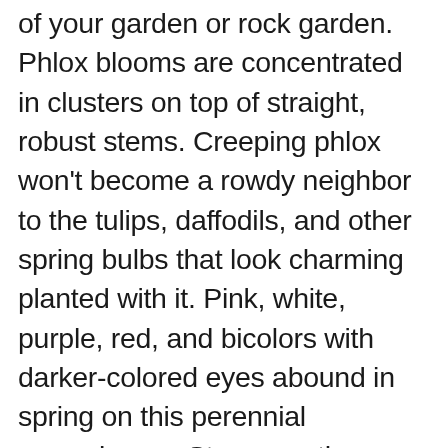of your garden or rock garden. Phlox blooms are concentrated in clusters on top of straight, robust stems. Creeping phlox won't become a rowdy neighbor to the tulips, daffodils, and other spring bulbs that look charming planted with it. Pink, white, purple, red, and bicolors with darker-colored eyes abound in spring on this perennial groundcover. Strong northern-grown field divisions sent. In Stock. The plant is about 6 inches tall and has white flowers for a long period in spring and early summer. A dense, vigorous, mat-forming ground cover, creeping phlox has short flower stems from 3 to 12 inches tall. Considered as one of the most colorful of all ground covers, Phlox subulata (Creeping Phlox) is a popular evergreen perennial with masses of delicate pink, magenta, purple-blue or white flowers in mid to late spring. Outsidepride Blue Phlox Ground Cover Plant Flower Seeds - 1000 Seeds. Wonderful ground cover or border. Drought Tolerant Creeping Phlox Perennial Ground Cover